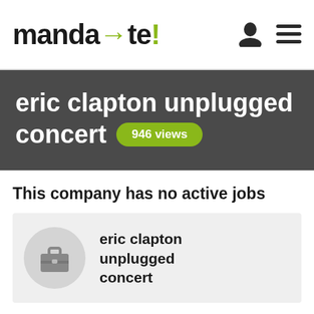mandate! [logo with arrow]
eric clapton unplugged concert  946 views
This company has no active jobs
[Figure (illustration): Company card with briefcase icon in a circle and company name 'eric clapton unplugged concert']
eric clapton unplugged concert